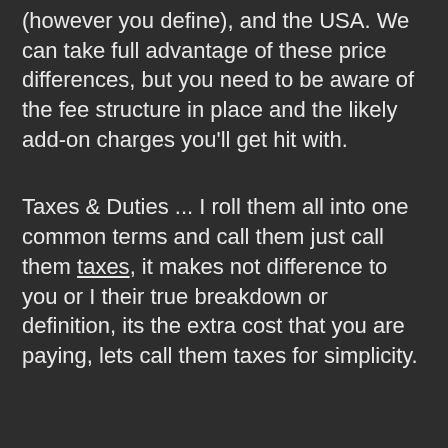(however you define), and the USA. We can take full advantage of these price differences, but you need to be aware of the fee structure in place and the likely add-on charges you'll get hit with.
Taxes & Duties ... I roll them all into one common terms and call them just call them taxes, it makes not difference to you or I their true breakdown or definition, its the extra cost that you are paying, lets call them taxes for simplicity.